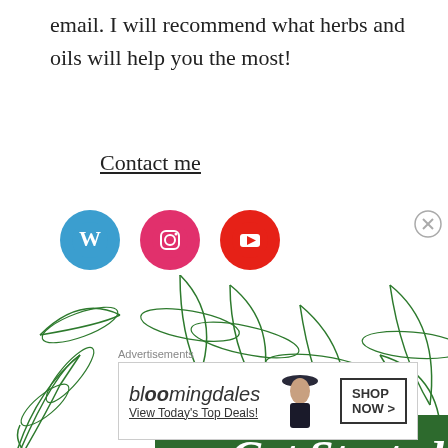email. I will recommend what herbs and oils will help you the most!
Contact me
[Figure (illustration): Three social media icons: WordPress (blue), Instagram (pink/magenta), YouTube (red)]
[Figure (illustration): Green botanical leaf pattern background with Get Started banner in dark green with white italic text]
Advertisements
[Figure (illustration): Bloomingdale's advertisement: bloomingdales logo, View Today's Top Deals!, woman in hat, SHOP NOW > button]